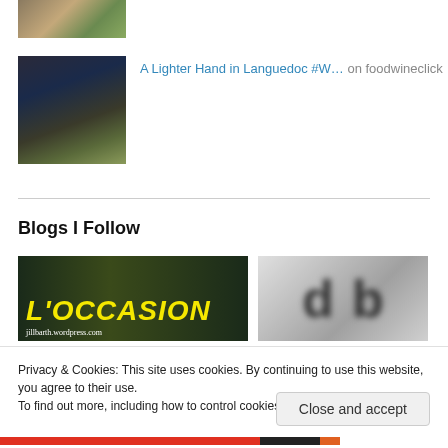[Figure (photo): Small thumbnail image, partially cropped at top of page]
[Figure (photo): Food/salad photo in dark bowl on table]
A Lighter Hand in Languedoc #W… on foodwineclick
Blogs I Follow
[Figure (photo): L'OCCASION blog banner image with yellow text on dark background, jillbarth.wordpress.com]
[Figure (photo): Blurred blog logo image]
Privacy & Cookies: This site uses cookies. By continuing to use this website, you agree to their use.
To find out more, including how to control cookies, see here: Cookie Policy
Close and accept